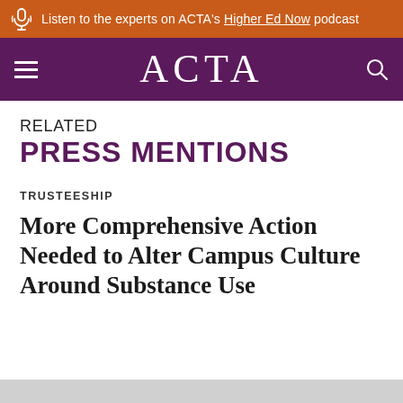Listen to the experts on ACTA's Higher Ed Now podcast
ACTA
RELATED PRESS MENTIONS
TRUSTEESHIP
More Comprehensive Action Needed to Alter Campus Culture Around Substance Use